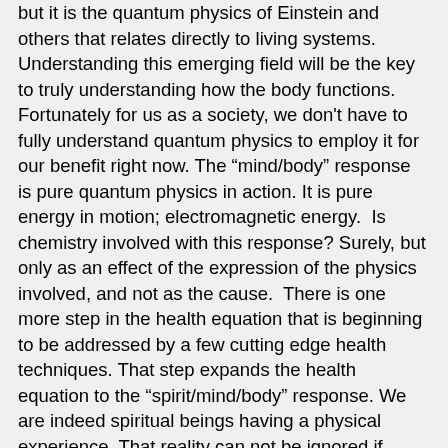but it is the quantum physics of Einstein and others that relates directly to living systems. Understanding this emerging field will be the key to truly understanding how the body functions. Fortunately for us as a society, we don't have to fully understand quantum physics to employ it for our benefit right now. The “mind/body” response is pure quantum physics in action. It is pure energy in motion; electromagnetic energy.  Is chemistry involved with this response? Surely, but only as an effect of the expression of the physics involved, and not as the cause.  There is one more step in the health equation that is beginning to be addressed by a few cutting edge health techniques. That step expands the health equation to the “spirit/mind/body” response. We are indeed spiritual beings having a physical experience. That reality can not be ignored if health is important to us.
 I have had the good fortune of having the developer of one of these cutting edge techniques as a friend and mentor for the past 22 years.  Dr. M.T. Morter,